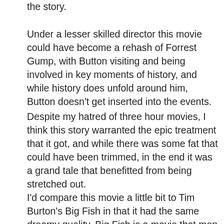the story.
Under a lesser skilled director this movie could have become a rehash of Forrest Gump, with Button visiting and being involved in key moments of history, and while history does unfold around him, Button doesn’t get inserted into the events.
Despite my hatred of three hour movies, I think this story warranted the epic treatment that it got, and while there was some fat that could have been trimmed, in the end it was a grand tale that benefitted from being stretched out.
I’d compare this movie a little bit to Tim Burton’s Big Fish in that it had the same dreamy quality. Big Fish is a movie that men seem to like much